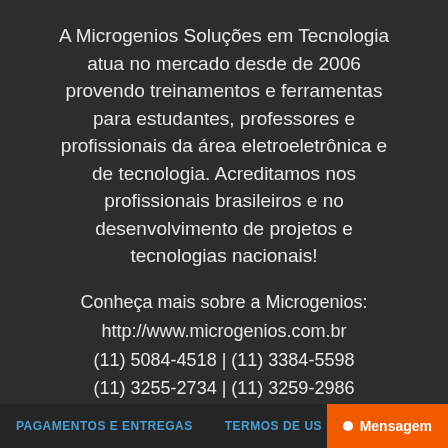A Microgenios Soluções em Tecnologia atua no mercado desde de 2006 provendo treinamentos e ferramentas para estudantes, professores e profissionais da área eletroeletrônica e de tecnologia. Acreditamos nos profissionais brasileiros e no desenvolvimento de projetos e tecnologias nacionais!
Conheça mais sobre a Microgenios:
http://www.microgenios.com.br
(11) 5084-4518 | (11) 3384-5598
(11) 3255-2734 | (11) 3259-2986
WhatsApp: (55 11) 98869-2864
PAGAMENTOS E ENTREGAS    TERMOS DE US…    Mensagem